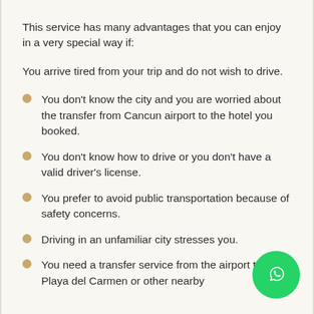This service has many advantages that you can enjoy in a very special way if:
You arrive tired from your trip and do not wish to drive.
You don't know the city and you are worried about the transfer from Cancun airport to the hotel you booked.
You don't know how to drive or you don't have a valid driver's license.
You prefer to avoid public transportation because of safety concerns.
Driving in an unfamiliar city stresses you.
You need a transfer service from the airport to Playa del Carmen or other nearby